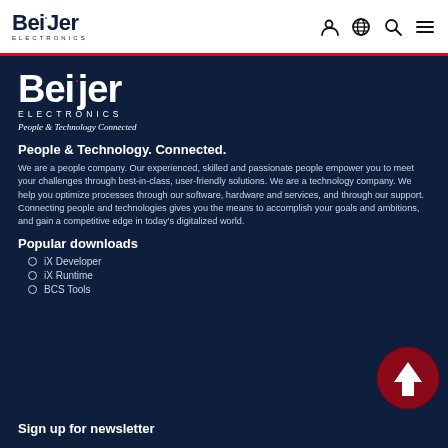Beijer Electronics — navigation bar with logo and icons
[Figure (logo): Beijer Electronics logo in dark blue with red dot, ELECTRONICS text below, on white navbar]
[Figure (logo): Large white Beijer Electronics logo with slogan 'People & Technology Connected' on dark navy background]
People & Technology. Connected.
We are a people company. Our experienced, skilled and passionate people empower you to meet your challenges through best-in-class, user-friendly solutions. We are a technology company. We help you optimize processes through our software, hardware and services, and through our support. Connecting people and technologies gives you the means to accomplish your goals and ambitions, and gain a competitive edge in today's digitalized world.
Popular downloads
iX Developer
iX Runtime
BCS Tools
Sign up for newsletter